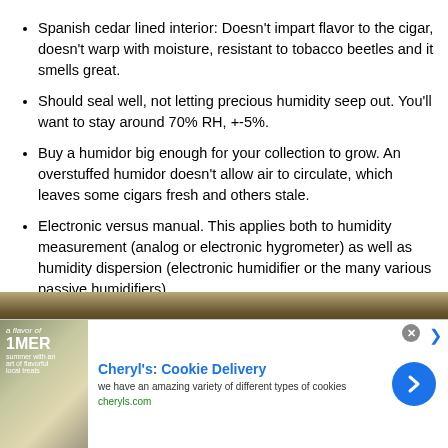Spanish cedar lined interior:  Doesn't impart flavor to the cigar, doesn't warp with moisture, resistant to tobacco beetles and it smells great.
Should seal well, not letting precious humidity seep out.  You'll want to stay around 70% RH, +-5%.
Buy a humidor big enough for your collection to grow.  An overstuffed humidor doesn't allow air to circulate, which leaves some cigars fresh and others stale.
Electronic versus manual.  This applies both to humidity measurement (analog or electronic hygrometer) as well as humidity dispersion (electronic humidifier or the many various passive humidifiers)
[Figure (photo): Partial view of a wooden humidor, photo strip visible at bottom of content area]
[Figure (other): Advertisement banner: Cheryl's Cookie Delivery - 'we have an amazing variety of different types of cookies' - cheryls.com]